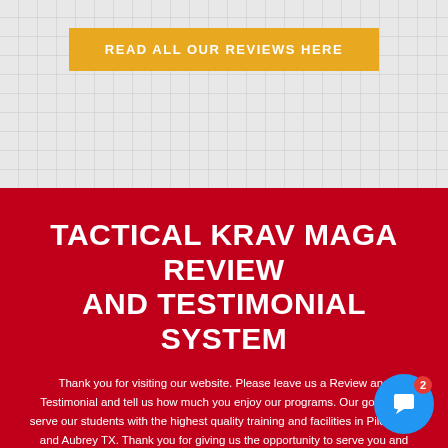[Figure (infographic): Gray grid-patterned background section with a yellow button labeled READ ALL OUR REVIEWS HERE]
TACTICAL KRAV MAGA REVIEW AND TESTIMONIAL SYSTEM
Thank you for visiting our website. Please leave us a Review and Testimonial and tell us how much you enjoy our programs. Our goal is to serve our students with the highest quality training and facilities in Pilot Point and Aubrey TX. Thank you for giving us the opportunity to serve you and your family.
[Figure (infographic): Blue button labeled PLEASE LEAVE A REVIEW TODAY]
[Figure (infographic): Blue circular chat widget icon with badge showing number 2]